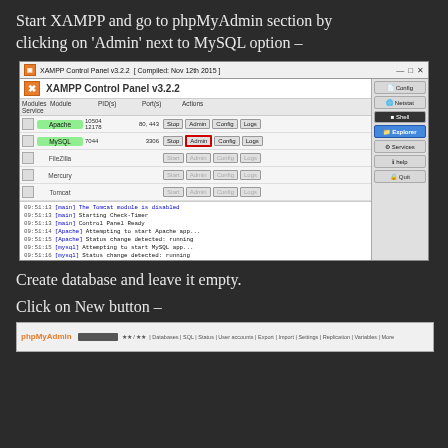Start XAMPP and go to phpMyAdmin section by clicking on ‘Admin’ next to MySQL option –
[Figure (screenshot): XAMPP Control Panel v3.2.2 screenshot showing Apache and MySQL running, with MySQL Admin button highlighted in red border. Log area shows startup messages.]
Create database and leave it empty.
Click on New button –
[Figure (screenshot): Partial phpMyAdmin interface screenshot showing the top navigation bar.]